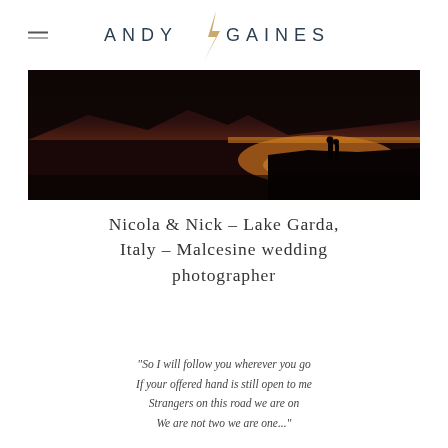ANDY GAINES
[Figure (photo): Silhouette of a couple standing on the shore of Lake Garda at sunset, with dark mountains in background and golden light reflecting on the water]
Nicola & Nick – Lake Garda, Italy – Malcesine wedding photographer
“So I will follow you wherever you go
If your offered hand is still open to me
Strangers on this road we are on
We are not two we are one...”